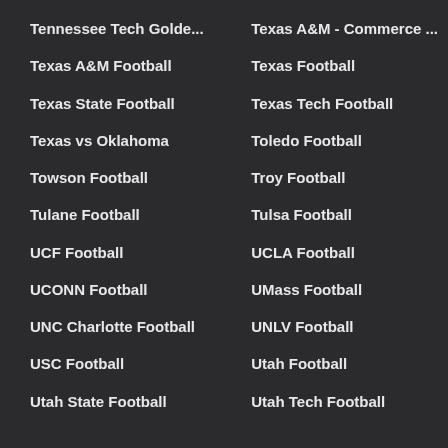Tennessee Tech Golde...
Texas A&M - Commerce ...
Texas A&M Football
Texas Football
Texas State Football
Texas Tech Football
Texas vs Oklahoma
Toledo Football
Towson Football
Troy Football
Tulane Football
Tulsa Football
UCF Football
UCLA Football
UCONN Football
UMass Football
UNC Charlotte Football
UNLV Football
USC Football
Utah Football
Utah State Football
Utah Tech Football